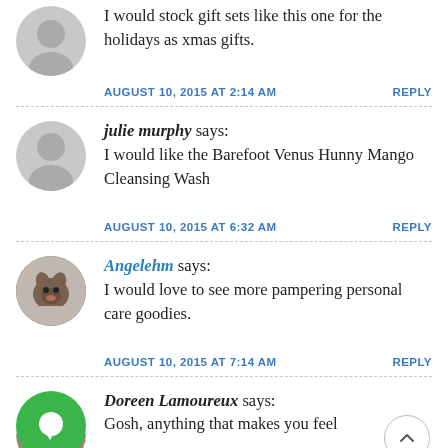I would stock gift sets like this one for the holidays as xmas gifts.
AUGUST 10, 2015 AT 2:14 AM   REPLY
julie murphy says: I would like the Barefoot Venus Hunny Mango Cleansing Wash
AUGUST 10, 2015 AT 6:32 AM   REPLY
Angelehm says: I would love to see more pampering personal care goodies.
AUGUST 10, 2015 AT 7:14 AM   REPLY
Doreen Lamoureux says: Gosh, anything that makes you feel